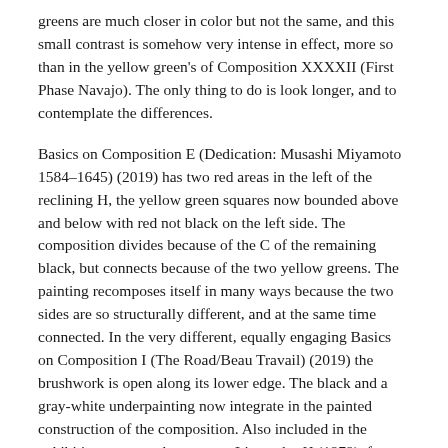greens are much closer in color but not the same, and this small contrast is somehow very intense in effect, more so than in the yellow green's of Composition XXXXII (First Phase Navajo). The only thing to do is look longer, and to contemplate the differences.
Basics on Composition E (Dedication: Musashi Miyamoto 1584–1645) (2019) has two red areas in the left of the reclining H, the yellow green squares now bounded above and below with red not black on the left side. The composition divides because of the C of the remaining black, but connects because of the two yellow greens. The painting recomposes itself in many ways because the two sides are so structurally different, and at the same time connected. In the very different, equally engaging Basics on Composition I (The Road/Beau Travail) (2019) the brushwork is open along its lower edge. The black and a gray-white underpainting now integrate in the painted construction of the composition. Also included in the exhibition are a work on paper, Liegendes H (1979), from the first year of Federle's use of the H composition, and a photograph, Untitled, (1986/2020),